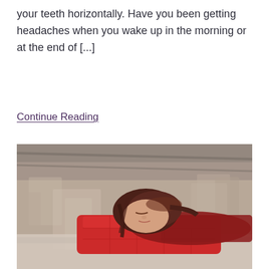your teeth horizontally. Have you been getting headaches when you wake up in the morning or at the end of [...]
Continue Reading
[Figure (photo): A young woman with short brown hair sleeping with her head resting on a red pillow on a table, in a blurred background of chairs and tables in what appears to be a library or classroom.]